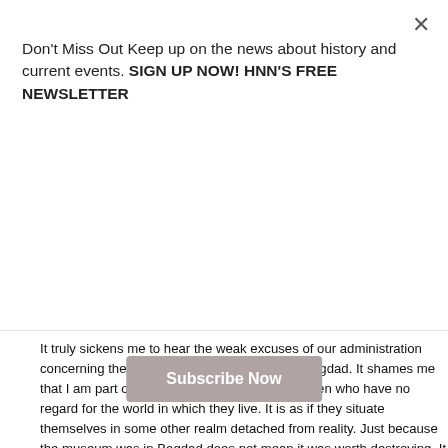Don't Miss Out Keep up on the news about history and current events. SIGN UP NOW! HNN'S FREE NEWSLETTER
[Figure (other): Subscribe Now button — a rounded rectangle button with muted rose/taupe background color and white bold text reading 'Subscribe Now']
It truly sickens me to hear the weak excuses of our administration concerning the destruction of the museum in Bagdad. It shames me that I am part of a country run by men and women who have no regard for the world in which they live. It is as if they situate themselves in some other realm detached from reality. Just because the museum was in Bagdad does not mean it was worth destroying. It is not the fault of the museum and all of its artifacts that Sudam was a vicious leader. I do not hold the soldiers responsible for the looting and desruction, for I am a veteran and understand one has to follow the orders of one's superior. That being said, the officers commanding the soldiers too had to follow the orders of their superior(s);thatbeing our beloved Commander in Chief. Of course little or nothing will be done and those of us who understand and appreciate the true loss of countless artifacts and historical data will have to accept as we so often do